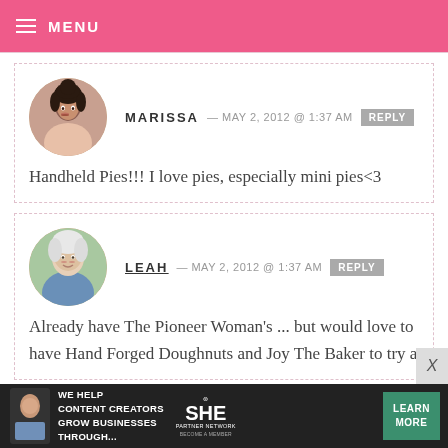MENU
MARISSA — MAY 2, 2012 @ 1:37 AM  REPLY
Handheld Pies!!! I love pies, especially mini pies<3
LEAH — MAY 2, 2012 @ 1:37 AM  REPLY
Already have The Pioneer Woman's ... but would love to have Hand Forged Doughnuts and Joy The Baker to try a
[Figure (infographic): SHE Partner Network advertisement banner at bottom of page]